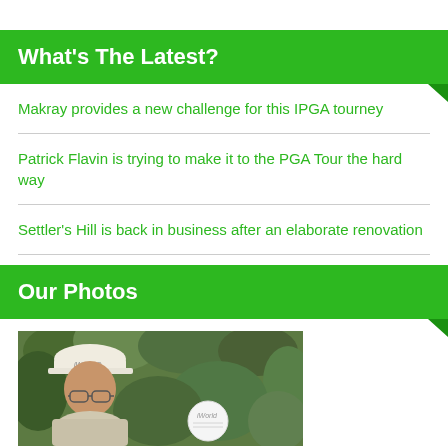What's The Latest?
Makray provides a new challenge for this IPGA tourney
Patrick Flavin is trying to make it to the PGA Tour the hard way
Settler’s Hill is back in business after an elaborate renovation
Our Photos
[Figure (photo): Man wearing a white cap with 'iWORLD' text, standing outdoors with green foliage in background, holding a golf ball]